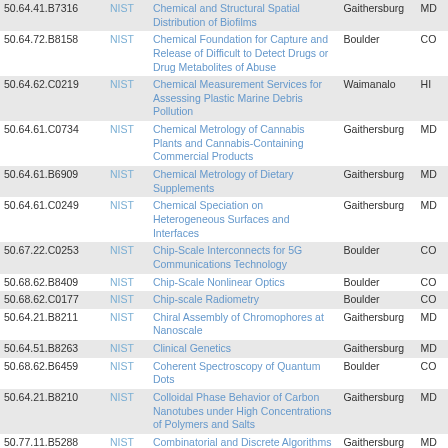| Code | Agency | Title | City | State |
| --- | --- | --- | --- | --- |
| 50.64.41.B7316 | NIST | Chemical and Structural Spatial Distribution of Biofilms | Gaithersburg | MD |
| 50.64.72.B8158 | NIST | Chemical Foundation for Capture and Release of Difficult to Detect Drugs or Drug Metabolites of Abuse | Boulder | CO |
| 50.64.62.C0219 | NIST | Chemical Measurement Services for Assessing Plastic Marine Debris Pollution | Waimanalo | HI |
| 50.64.61.C0734 | NIST | Chemical Metrology of Cannabis Plants and Cannabis-Containing Commercial Products | Gaithersburg | MD |
| 50.64.61.B6909 | NIST | Chemical Metrology of Dietary Supplements | Gaithersburg | MD |
| 50.64.61.C0249 | NIST | Chemical Speciation on Heterogeneous Surfaces and Interfaces | Gaithersburg | MD |
| 50.67.22.C0253 | NIST | Chip-Scale Interconnects for 5G Communications Technology | Boulder | CO |
| 50.68.62.B8409 | NIST | Chip-Scale Nonlinear Optics | Boulder | CO |
| 50.68.62.C0177 | NIST | Chip-scale Radiometry | Boulder | CO |
| 50.64.21.B8211 | NIST | Chiral Assembly of Chromophores at Nanoscale | Gaithersburg | MD |
| 50.64.51.B8263 | NIST | Clinical Genetics | Gaithersburg | MD |
| 50.68.62.B6459 | NIST | Coherent Spectroscopy of Quantum Dots | Boulder | CO |
| 50.64.21.B8210 | NIST | Colloidal Phase Behavior of Carbon Nanotubes under High Concentrations of Polymers and Salts | Gaithersburg | MD |
| 50.77.11.B5288 | NIST | Combinatorial and Discrete Algorithms | Gaithersburg | MD |
| 50.64.21.B5946 | NIST | Combinatorial Approaches to Intelligent Surfaces by Polymer Grafting | Gaithersburg | MD |
| 50.64.21.C0584 | NIST | Combining Theory, Simulation, Machine Learning, and Autonomous Experiments for... | Gaithersburg | MD |